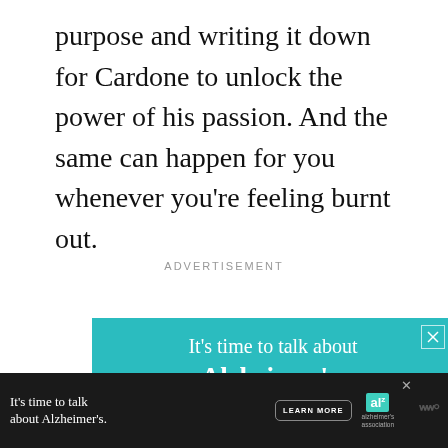purpose and writing it down for Cardone to unlock the power of his passion. And the same can happen for you whenever you're feeling burnt out.
ADVERTISEMENT
[Figure (illustration): Advertisement banner for Alzheimer's Association. Teal background with white text reading 'It's time to talk about Alzheimer's.' with a LEARN MORE button and alz.org/ourstories URL. Illustrated elderly couple at bottom left. Close button (X) top right.]
[Figure (illustration): Bottom sticky banner ad for Alzheimer's Association on dark background. Text: 'It's time to talk about Alzheimer's.' with LEARN MORE button and Alzheimer's Association logo.]